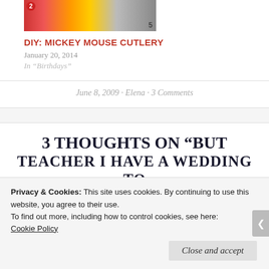[Figure (photo): Photo strip showing Mickey Mouse cutlery items with a red circled number 2 on the left and number 5 on the right]
DIY: MICKEY MOUSE CUTLERY
January 20, 2014
In "Birthdays"
June 8, 2009 · Elena · 3 Comments
3 THOUGHTS ON "BUT TEACHER I HAVE A WEDDING TO
Privacy & Cookies: This site uses cookies. By continuing to use this website, you agree to their use.
To find out more, including how to control cookies, see here:
Cookie Policy
Close and accept